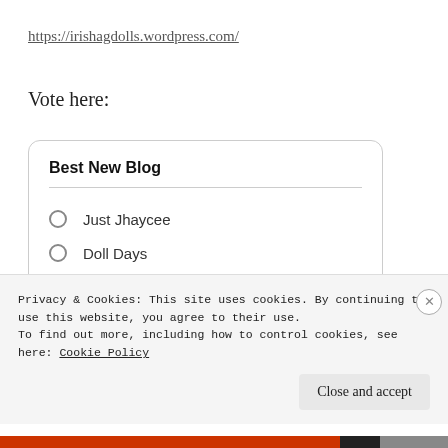https://irishagdolls.wordpress.com/
Vote here:
Best New Blog
Just Jhaycee
Doll Days
Her Story AG
Privacy & Cookies: This site uses cookies. By continuing to use this website, you agree to their use.
To find out more, including how to control cookies, see here: Cookie Policy
Close and accept